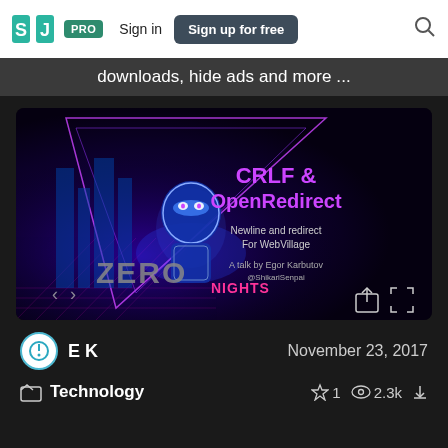SJ PRO  Sign in  Sign up for free  [search]
downloads, hide ads and more ...
[Figure (screenshot): Slide presentation thumbnail for 'CRLF & OpenRedirect - Newline and redirect For WebVillage - A talk by Egor Karbutov @ShikariSenpai' with a cyberpunk/neon design featuring a robot character and ZeroNights branding]
EK
November 23, 2017
Technology
1  2.3k